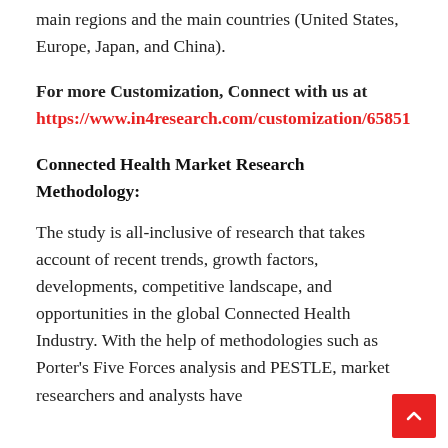main regions and the main countries (United States, Europe, Japan, and China).
For more Customization, Connect with us at https://www.in4research.com/customization/65851
Connected Health Market Research Methodology:
The study is all-inclusive of research that takes account of recent trends, growth factors, developments, competitive landscape, and opportunities in the global Connected Health Industry. With the help of methodologies such as Porter's Five Forces analysis and PESTLE, market researchers and analysts have